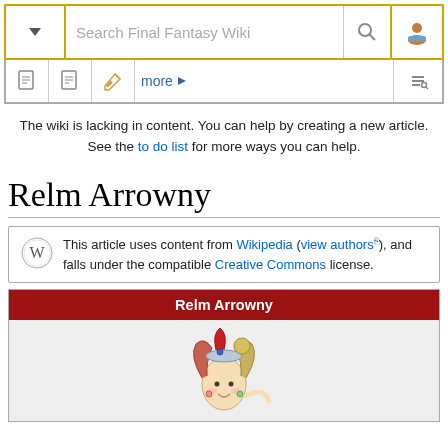[Figure (screenshot): Final Fantasy Wiki top navigation bar with dropdown, search box, and user icon, styled with yellow/gold borders]
[Figure (screenshot): Secondary navigation bar with page icons (view, edit) and 'more' link, and tools icon]
The wiki is lacking in content. You can help by creating a new article. See the to do list for more ways you can help.
Relm Arrowny
This article uses content from Wikipedia (view authors), and falls under the compatible Creative Commons license.
| Relm Arrowny |
| --- |
| [character illustration] |